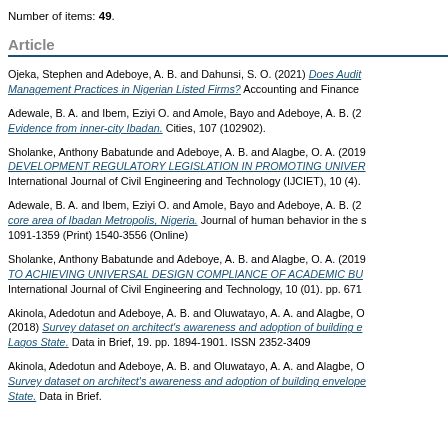Number of items: 49.
Article
Ojeka, Stephen and Adeboye, A. B. and Dahunsi, S. O. (2021) Does Audit... Management Practices in Nigerian Listed Firms? Accounting and Finance
Adewale, B. A. and Ibem, Eziyi O. and Amole, Bayo and Adeboye, A. B. (2... Evidence from inner-city Ibadan. Cities, 107 (102902).
Sholanke, Anthony Babatunde and Adeboye, A. B. and Alagbe, O. A. (2019... DEVELOPMENT REGULATORY LEGISLATION IN PROMOTING UNIVER... International Journal of Civil Engineering and Technology (IJCIET), 10 (4).
Adewale, B. A. and Ibem, Eziyi O. and Amole, Bayo and Adeboye, A. B. (2... core area of Ibadan Metropolis, Nigeria. Journal of human behavior in the s... 1091-1359 (Print) 1540-3556 (Online)
Sholanke, Anthony Babatunde and Adeboye, A. B. and Alagbe, O. A. (2019... TO ACHIEVING UNIVERSAL DESIGN COMPLIANCE OF ACADEMIC BU... International Journal of Civil Engineering and Technology, 10 (01). pp. 671...
Akinola, Adedotun and Adeboye, A. B. and Oluwatayo, A. A. and Alagbe, O... (2018) Survey dataset on architect's awareness and adoption of building e... Lagos State. Data in Brief, 19. pp. 1894-1901. ISSN 2352-3409
Akinola, Adedotun and Adeboye, A. B. and Oluwatayo, A. A. and Alagbe, O... Survey dataset on architect's awareness and adoption of building envelope... State. Data in Brief.